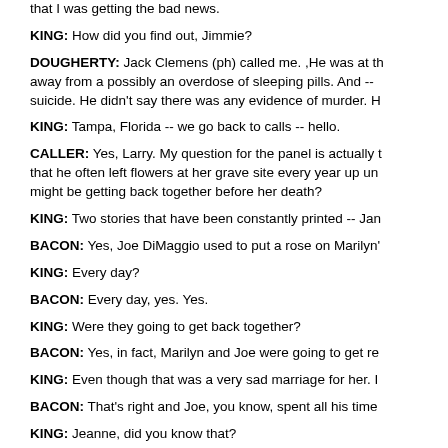that I was getting the bad news.
KING: How did you find out, Jimmie?
DOUGHERTY: Jack Clemens (ph) called me. ,He was at the away from a possibly an overdose of sleeping pills. And -- suicide. He didn't say there was any evidence of murder. H
KING: Tampa, Florida -- we go back to calls -- hello.
CALLER: Yes, Larry. My question for the panel is actually t that he often left flowers at her grave site every year up un might be getting back together before her death?
KING: Two stories that have been constantly printed -- Jan
BACON: Yes, Joe DiMaggio used to put a rose on Marilyn'
KING: Every day?
BACON: Every day, yes. Yes.
KING: Were they going to get back together?
BACON: Yes, in fact, Marilyn and Joe were going to get re
KING: Even though that was a very sad marriage for her. I
BACON: That's right and Joe, you know, spent all his time
KING: Jeanne, did you know that?
CARMEN: What? That...